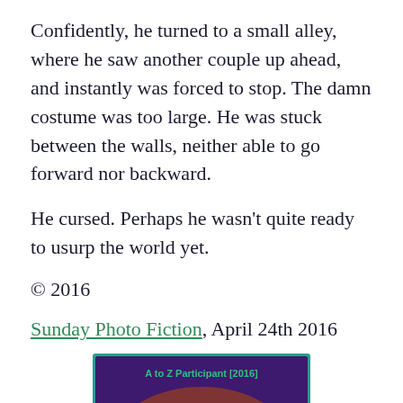Confidently, he turned to a small alley, where he saw another couple up ahead, and instantly was forced to stop. The damn costume was too large. He was stuck between the walls, neither able to go forward nor backward.
He cursed. Perhaps he wasn't quite ready to usurp the world yet.
© 2016
Sunday Photo Fiction, April 24th 2016
[Figure (illustration): A to Z Participant [2016] badge with purple background, showing the letter U in yellow, with decorative clock-like design and '2016' text]